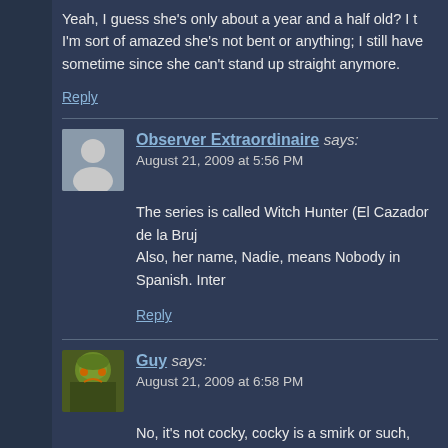Yeah, I guess she's only about a year and a half old? I t... I'm sort of amazed she's not bent or anything; I still have... sometime since she can't stand up straight anymore.
Reply
Observer Extraordinaire says:
August 21, 2009 at 5:56 PM
The series is called Witch Hunter (El Cazador de la Bruj... Also, her name, Nadie, means Nobody in Spanish. Inter...
Reply
Guy says:
August 21, 2009 at 6:58 PM
No, it's not cocky, cocky is a smirk or such, more… "I'm